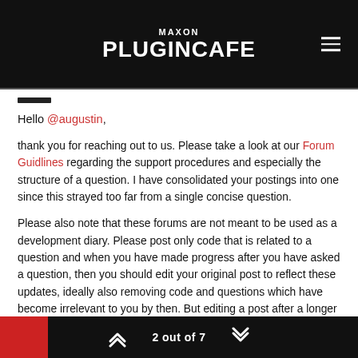MAXON PLUGINCAFE
Hello @augustin,
thank you for reaching out to us. Please take a look at our Forum Guidlines regarding the support procedures and especially the structure of a question. I have consolidated your postings into one since this strayed too far from a single concise question.
Please also note that these forums are not meant to be used as a development diary. Please post only code that is related to a question and when you have made progress after you have asked a question, then you should edit your original post to reflect these updates, ideally also removing code and questions which have become irrelevant to you by then. But editing a post after a longer period should be the exception, not the rule since we must
2 out of 7